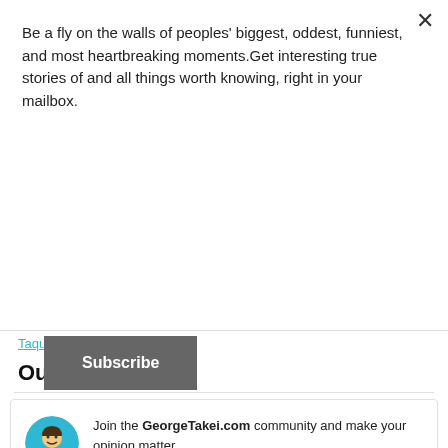Be a fly on the walls of peoples' biggest, oddest, funniest, and most heartbreaking moments.Get interesting true stories of and all things worth knowing, right in your mailbox.
Subscribe
TaquitoPartyat330
Our Community
Join the GeorgeTakei.com community and make your opinion matter
Comment >
[Figure (infographic): Advertisement banner at bottom of page showing Shopify Plus ad with UNTUCKit text]